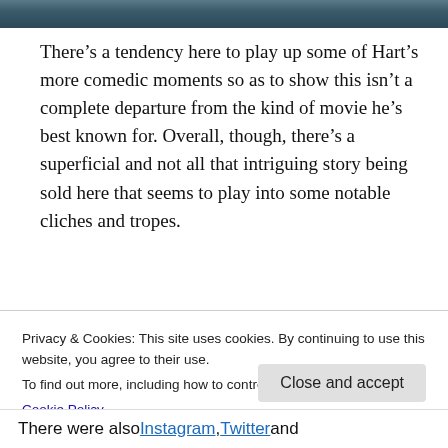[Figure (photo): Partial image strip at the top of the page showing a dark bluish scene]
There’s a tendency here to play up some of Hart’s more comedic moments so as to show this isn’t a complete departure from the kind of movie he’s best known for. Overall, though, there’s a superficial and not all that intriguing story being sold here that seems to play into some notable cliches and tropes.
Online and Social
Privacy & Cookies: This site uses cookies. By continuing to use this website, you agree to their use.
To find out more, including how to control cookies, see here:
Cookie Policy
There were also Instagram, Twitter and